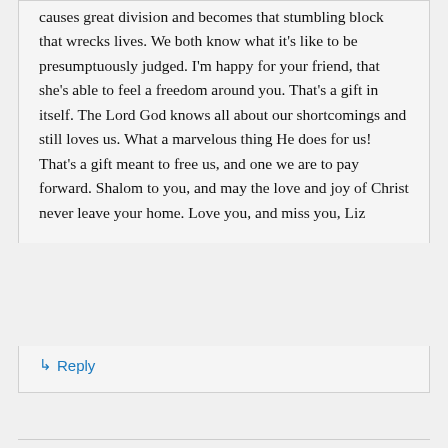causes great division and becomes that stumbling block that wrecks lives. We both know what it's like to be presumptuously judged. I'm happy for your friend, that she's able to feel a freedom around you. That's a gift in itself. The Lord God knows all about our shortcomings and still loves us. What a marvelous thing He does for us! That's a gift meant to free us, and one we are to pay forward. Shalom to you, and may the love and joy of Christ never leave your home. Love you, and miss you, Liz
↳ Reply